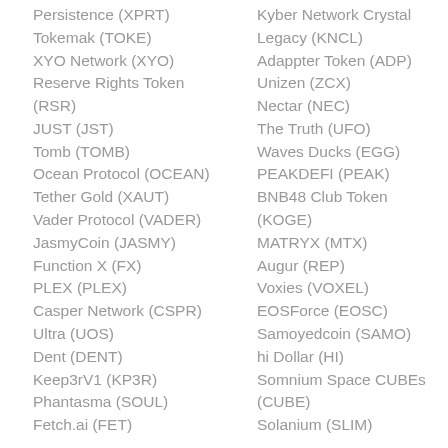Persistence (XPRT)
Tokemak (TOKE)
XYO Network (XYO)
Reserve Rights Token (RSR)
JUST (JST)
Tomb (TOMB)
Ocean Protocol (OCEAN)
Tether Gold (XAUT)
Vader Protocol (VADER)
JasmyCoin (JASMY)
Function X (FX)
PLEX (PLEX)
Casper Network (CSPR)
Ultra (UOS)
Dent (DENT)
Keep3rV1 (KP3R)
Phantasma (SOUL)
Fetch.ai (FET)
Kyber Network Crystal Legacy (KNCL)
Adappter Token (ADP)
Unizen (ZCX)
Nectar (NEC)
The Truth (UFO)
Waves Ducks (EGG)
PEAKDEFI (PEAK)
BNB48 Club Token (KOGE)
MATRYX (MTX)
Augur (REP)
Voxies (VOXEL)
EOSForce (EOSC)
Samoyedcoin (SAMO)
hi Dollar (HI)
Somnium Space CUBEs (CUBE)
Solanium (SLIM)